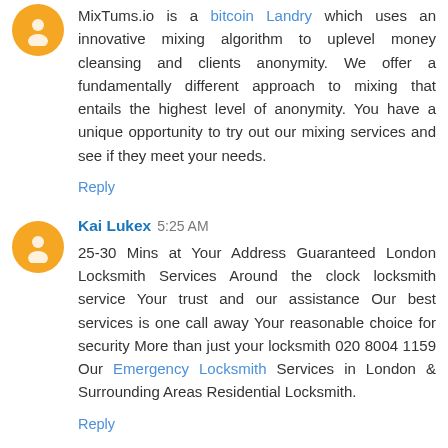MixTums.io is a bitcoin Landry which uses an innovative mixing algorithm to uplevel money cleansing and clients anonymity. We offer a fundamentally different approach to mixing that entails the highest level of anonymity. You have a unique opportunity to try out our mixing services and see if they meet your needs.
Reply
Kai Lukex 5:25 AM
25-30 Mins at Your Address Guaranteed London Locksmith Services Around the clock locksmith service Your trust and our assistance Our best services is one call away Your reasonable choice for security More than just your locksmith 020 8004 1159 Our Emergency Locksmith Services in London & Surrounding Areas Residential Locksmith.
Reply
Myles Lewis 6:31 AM